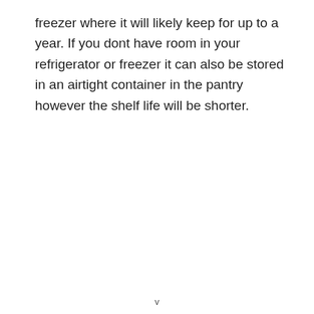freezer where it will likely keep for up to a year. If you dont have room in your refrigerator or freezer it can also be stored in an airtight container in the pantry however the shelf life will be shorter.
v